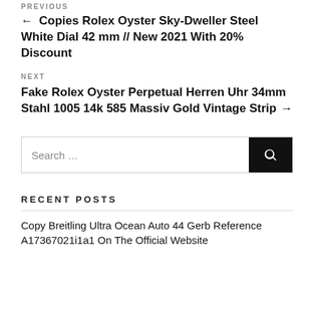PREVIOUS
← Copies Rolex Oyster Sky-Dweller Steel White Dial 42 mm // New 2021 With 20% Discount
NEXT
Fake Rolex Oyster Perpetual Herren Uhr 34mm Stahl 1005 14k 585 Massiv Gold Vintage Strip →
Search …
RECENT POSTS
Copy Breitling Ultra Ocean Auto 44 Gerb Reference A17367021i1a1 On The Official Website